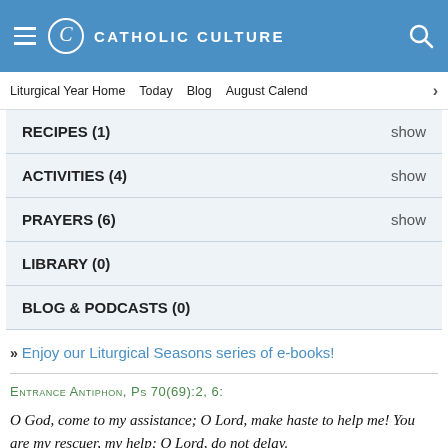CATHOLIC CULTURE
Liturgical Year Home  Today  Blog  August Calendar
RECIPES (1)  show
ACTIVITIES (4)  show
PRAYERS (6)  show
LIBRARY (0)
BLOG & PODCASTS (0)
» Enjoy our Liturgical Seasons series of e-books!
Entrance Antiphon, Ps 70(69):2, 6:
O God, come to my assistance; O Lord, make haste to help me! You are my rescuer, my help; O Lord, do not delay.